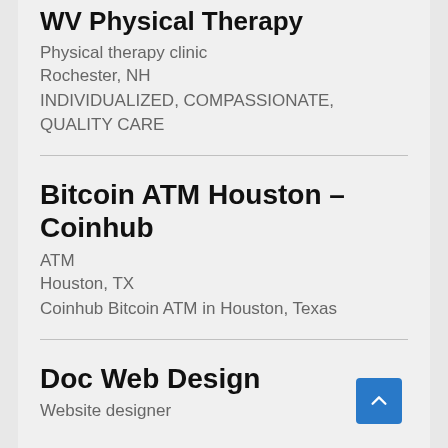WV Physical Therapy
Physical therapy clinic
Rochester, NH
INDIVIDUALIZED, COMPASSIONATE, QUALITY CARE
Bitcoin ATM Houston – Coinhub
ATM
Houston, TX
Coinhub Bitcoin ATM in Houston, Texas
Doc Web Design
Website designer